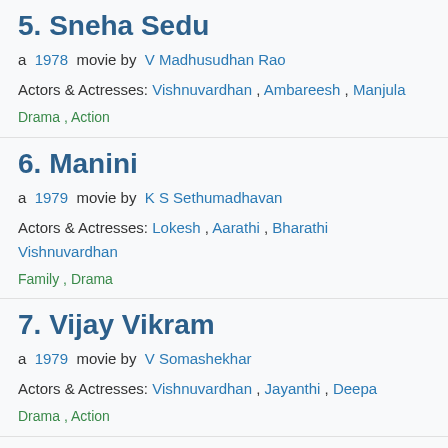5.  Sneha Sedu
a  1978  movie by  V Madhusudhan Rao
Actors & Actresses:  Vishnuvardhan ,  Ambareesh ,  Manjula
Drama ,  Action
6.  Manini
a  1979  movie by  K S Sethumadhavan
Actors & Actresses:  Lokesh ,  Aarathi ,  Bharathi Vishnuvardhan
Family ,  Drama
7.  Vijay Vikram
a  1979  movie by  V Somashekhar
Actors & Actresses:  Vishnuvardhan ,  Jayanthi ,  Deepa
Drama ,  Action
8.  Yaanthe Geetha...